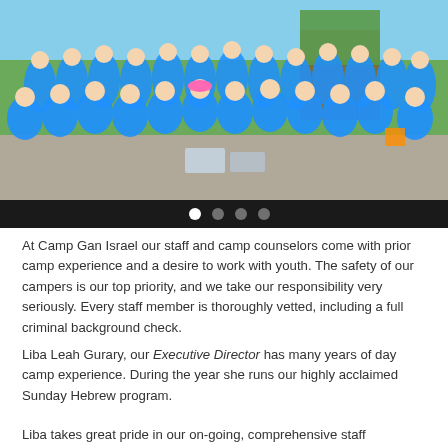[Figure (photo): Group photo of children and staff at Camp Gan Israel, most wearing matching blue t-shirts, standing outdoors on a paved area with trees in background. Navigation dots visible at bottom of image carousel.]
At Camp Gan Israel our staff and camp counselors come with prior camp experience and a desire to work with youth. The safety of our campers is our top priority, and we take our responsibility very seriously. Every staff member is thoroughly vetted, including a full criminal background check.
Liba Leah Gurary, our Executive Director has many years of day camp experience. During the year she runs our highly acclaimed Sunday Hebrew program.
Liba takes great pride in our on-going, comprehensive staff